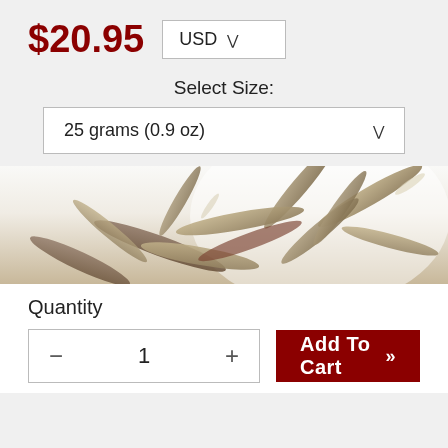$20.95
USD
Select Size:
25 grams (0.9 oz)
[Figure (photo): Close-up photo of dried white tea leaves (silver needle / bai hao yinzhen) spread on a white background, showing silvery-grey needle-shaped buds.]
Quantity
- 1 +
Add To Cart